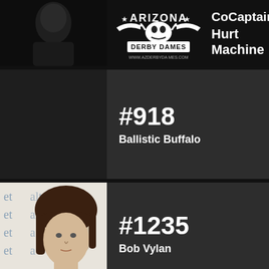[Figure (photo): Top row: partial photo of person on left, Arizona Derby Dames logo in center, text 'CoCaptain' and 'Hurt Machine' on right with plus sign]
[Figure (photo): Row with #918 and name Ballistic Buffalo, no photo (dark background)]
#918
Ballistic Buffalo
[Figure (photo): Photo of woman with short dark hair, bangs, against white background with handwriting]
#1235
Bob Vylan
[Figure (photo): Partial photo of person at bottom, against white background with handwriting]
#1212